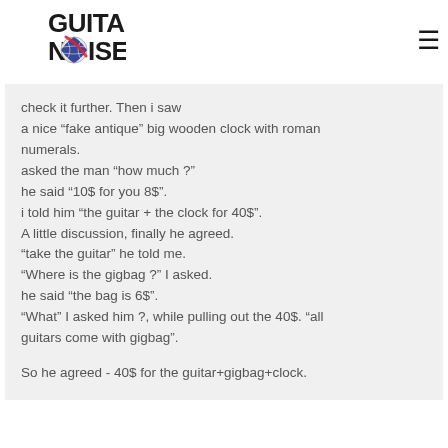Guitar Noise
check it further. Then i saw a nice “fake antique” big wooden clock with roman numerals.
asked the man “how much ?”
he said “10$ for you 8$”.
i told him “the guitar + the clock for 40$”.
A little discussion, finally he agreed.
“take the guitar” he told me.
“Where is the gigbag ?” I asked.
he said “the bag is 6$”.
“What” I asked him ?, while pulling out the 40$. “all guitars come with gigbag”.

So he agreed - 40$ for the guitar+gigbag+clock.